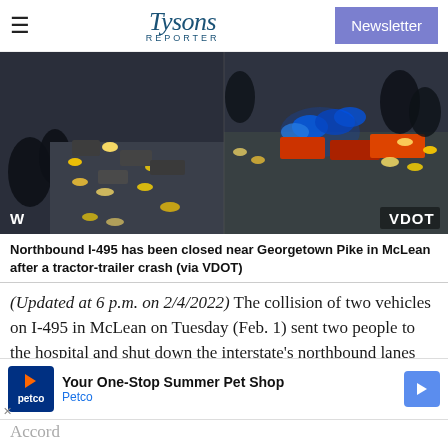Tysons Reporter | Newsletter
[Figure (photo): Traffic camera image (VDOT) showing northbound I-495 near Georgetown Pike in McLean with heavy traffic and emergency vehicle lights visible. Labels 'W' and 'VDOT' shown in corners.]
Northbound I-495 has been closed near Georgetown Pike in McLean after a tractor-trailer crash (via VDOT)
(Updated at 6 p.m. on 2/4/2022) The collision of two vehicles on I-495 in McLean on Tuesday (Feb. 1) sent two people to the hospital and shut down the interstate's northbound lanes for hours.
Accord